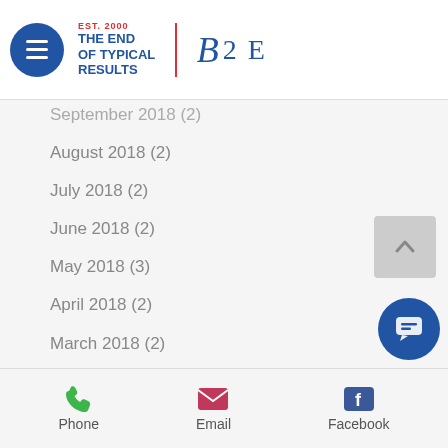[Figure (logo): Navigation header with hamburger menu, B2E logo with 'The End of Typical Results' tagline]
September 2018 (2)
August 2018 (2)
July 2018 (2)
June 2018 (2)
May 2018 (3)
April 2018 (2)
March 2018 (2)
February 2018 (2)
January 2018 (2)
December 2017 (3)
November 2017 (2)
September 2017 (3)
August 2017 (2)
July 2017 (3)
June 2017 (3)
May 2017 (5)
Phone  Email  Facebook